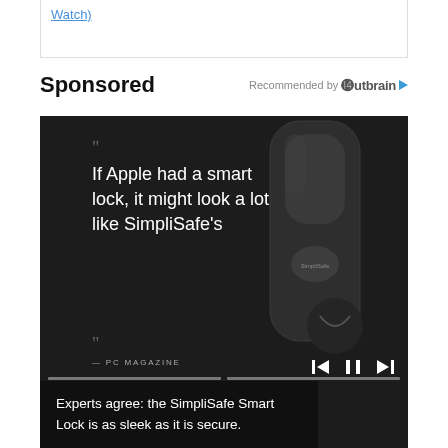Watch)
Sponsored
Recommended by Outbrain
[Figure (photo): Dark advertisement showing a SimpliSafe Smart Lock device with quote text: 'If Apple had a smart lock, it might look a lot like SimpliSafe's' — PC MAGAZINE, with media player controls and caption 'Experts agree: the SimpliSafe Smart Lock is as sleek as it is secure.']